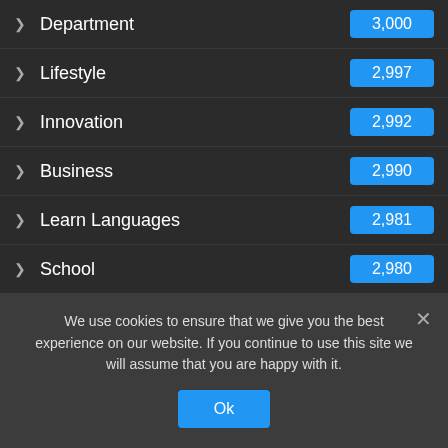Department — 3,000
Lifestyle — 2,997
Innovation — 2,992
Business — 2,990
Learn Languages — 2,981
School — 2,980
Students — 2,979
Tourism — 2,973
Markets — 2,967
Insurance — 2,961
We use cookies to ensure that we give you the best experience on our website. If you continue to use this site we will assume that you are happy with it.
Ok